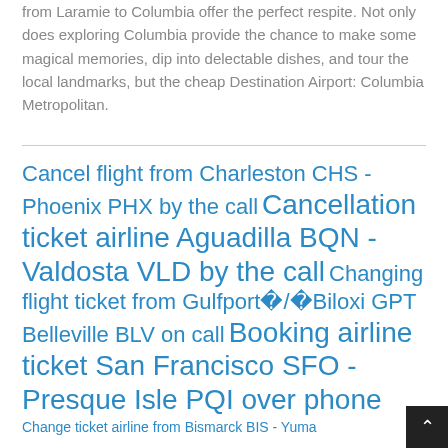from Laramie to Columbia offer the perfect respite. Not only does exploring Columbia provide the chance to make some magical memories, dip into delectable dishes, and tour the local landmarks, but the cheap Destination Airport: Columbia Metropolitan.
Cancel flight from Charleston CHS - Phoenix PHX by the call Cancellation ticket airline Aguadilla BQN - Valdosta VLD by the call Changing flight ticket from Gulfport�/�Biloxi GPT Belleville BLV on call Booking airline ticket San Francisco SFO - Presque Isle PQI over phone Change ticket airline from Bismarck BIS - Yuma